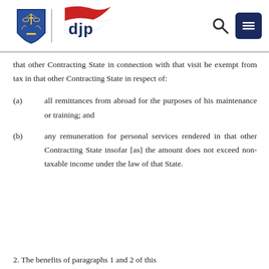[Figure (logo): DJP (Direktorat Jenderal Pajak) logo with Indonesian flag motif and shield emblem, with search and menu icons on the right]
that other Contracting State in connection with that visit be exempt from tax in that other Contracting State in respect of:
(a)	all remittances from abroad for the purposes of his maintenance or training; and
(b)	any remuneration for personal services rendered in that other Contracting State insofar [as] the amount does not exceed non-taxable income under the law of that State.
2. The benefits of paragraphs 1 and 2 of this